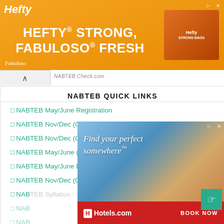[Figure (illustration): Orange Hefty/Fabuloso advertisement banner with text 'HEFTY STRONG, FABULOSO FRESH']
NABTEB QUICK LINKS
NABTEB May/June Registration
NABTEB Nov/Dec (GCE) Registration
NABTEB Nov/Dec (GCE) Result
NABTEB May/June (SSCE) Result
NABTEB May/June Exam Timetable
NABTEB Nov/Dec (GCE) Timetable
NAB... (partially visible)
NAB... (partially visible)
NAB... (partially visible)
[Figure (illustration): Hotels.com advertisement overlay showing beach/vacation scene with text 'Find your perfect somewhere' and BOOK NOW button]